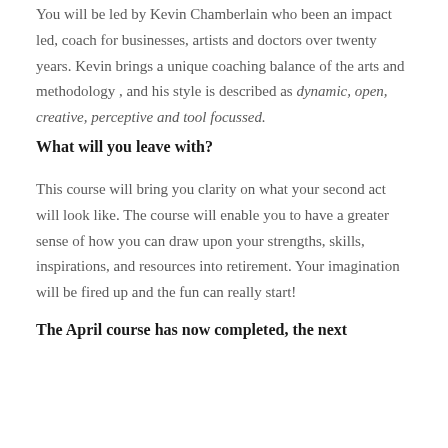You will be led by Kevin Chamberlain who been an impact led, coach for businesses, artists and doctors over twenty years. Kevin brings a unique coaching balance of the arts and methodology , and his style is described as dynamic, open, creative, perceptive and tool focussed.
What will you leave with?
This course will bring you clarity on what your second act will look like. The course will enable you to have a greater sense of how you can draw upon your strengths, skills, inspirations, and resources into retirement. Your imagination will be fired up and the fun can really start!
The April course has now completed, the next